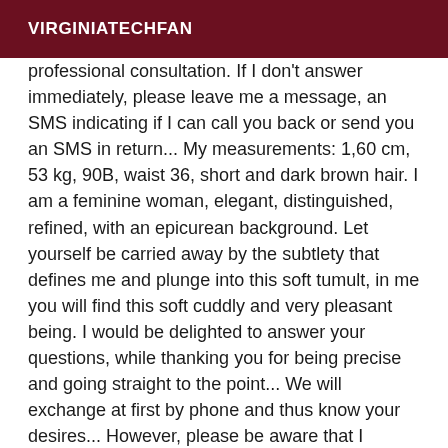VIRGINIATECHFAN
professional consultation. If I don't answer immediately, please leave me a message, an SMS indicating if I can call you back or send you an SMS in return... My measurements: 1,60 cm, 53 kg, 90B, waist 36, short and dark brown hair. I am a feminine woman, elegant, distinguished, refined, with an epicurean background. Let yourself be carried away by the subtlety that defines me and plunge into this soft tumult, in me you will find this soft cuddly and very pleasant being. I would be delighted to answer your questions, while thanking you for being precise and going straight to the point... We will exchange at first by phone and thus know your desires... However, please be aware that I reserve the right not to follow up if your language or request is inappropriate and not in harmony with my principles. I particularly appreciate finesse, delicacy, hygiene and discretion. Classical but qualitative, I am not a fan of special requests. Visible cell phone number please, no fixed